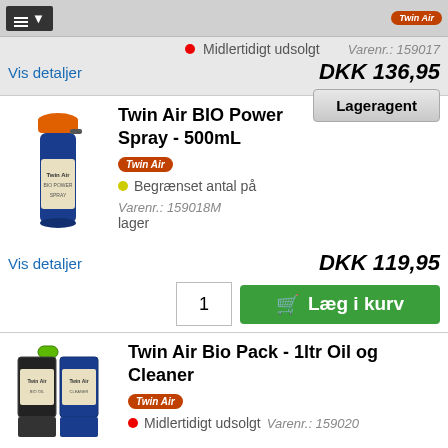[Figure (screenshot): Top bar with list/filter icon button]
Midlertidigt udsolgt
Varenr.: 159017
Vis detaljer
DKK 136,95
Lageragent
Twin Air BIO Power Spray - 500mL
Begrænset antal på lager
Varenr.: 159018M
Vis detaljer
DKK 119,95
1
Læg i kurv
Twin Air Bio Pack - 1ltr Oil og Cleaner
Midlertidigt udsolgt
Varenr.: 159020
Vis detaljer
DKK 237,95
Lageragent